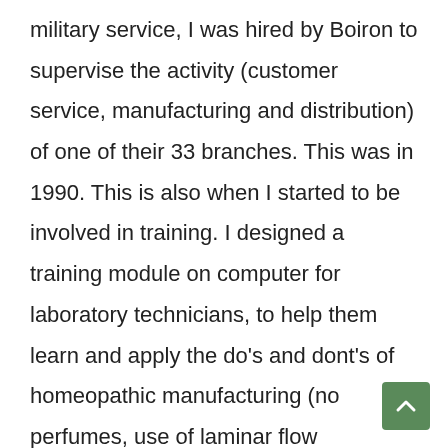military service, I was hired by Boiron to supervise the activity (customer service, manufacturing and distribution) of one of their 33 branches. This was in 1990. This is also when I started to be involved in training. I designed a training module on computer for laboratory technicians, to help them learn and apply the do's and dont's of homeopathic manufacturing (no perfumes, use of laminar flow enclosures, double control of ingredients, etc.). I also